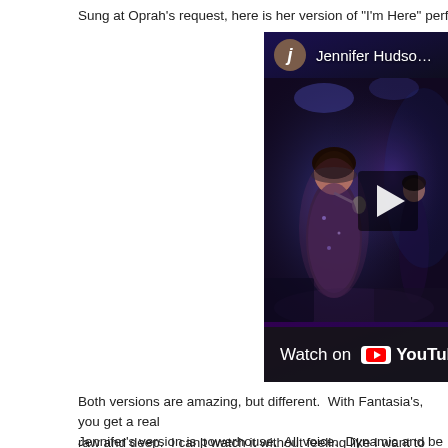Sung at Oprah's request, here is her version of "I'm Here" performed at T
[Figure (screenshot): YouTube video thumbnail showing Jennifer Hudson performing 'I'm Here' at Kennedy Center. The video shows a woman singing into a microphone on a dark stage. Top bar shows channel avatar with letter 'j' and title 'Jennifer Hudson – I'm Here – Kenn'. A play button is visible on the right. Bottom left shows 'Watch on YouTube' overlay.]
Both versions are amazing, but different.  With Fantasia's, you get a real raw and deep.  I can't watch it without feeling like I want to cry.
Jennifer's version is powerhouse.  All voice.  Dynamic and beautiful.  I'm